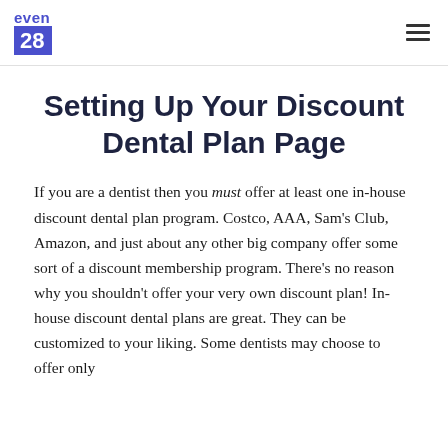even 28
Setting Up Your Discount Dental Plan Page
If you are a dentist then you must offer at least one in-house discount dental plan program. Costco, AAA, Sam's Club, Amazon, and just about any other big company offer some sort of a discount membership program. There's no reason why you shouldn't offer your very own discount plan! In-house discount dental plans are great. They can be customized to your liking. Some dentists may choose to offer only